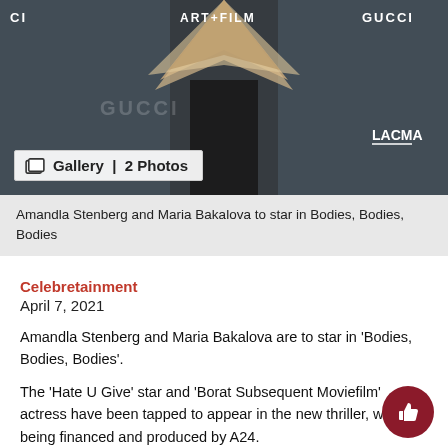[Figure (photo): Photo of a person at LACMA Art+Film event with GUCCI branding. A gallery badge overlay reads 'Gallery | 2 Photos'.]
Amandla Stenberg and Maria Bakalova to star in Bodies, Bodies, Bodies
Celebretainment
April 7, 2021
Amandla Stenberg and Maria Bakalova are to star in ‘Bodies, Bodies, Bodies’.
The ‘Hate U Give’ star and ‘Borat Subsequent Moviefilm’ actress have been tapped to appear in the new thriller, which is being financed and produced by A24.